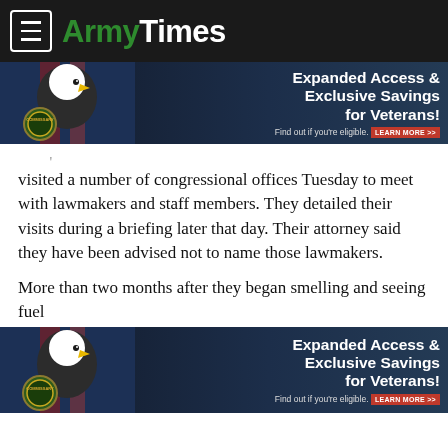ArmyTimes
[Figure (photo): Commissary advertisement banner with bald eagle and American flag background. Text: Expanded Access & Exclusive Savings for Veterans! Find out if you're eligible. LEARN MORE >>]
visited a number of congressional offices Tuesday to meet with lawmakers and staff members. They detailed their visits during a briefing later that day. Their attorney said they have been advised not to name those lawmakers.
More than two months after they began smelling and seeing fuel
[Figure (photo): Commissary advertisement banner with bald eagle and American flag background. Text: Expanded Access & Exclusive Savings for Veterans! Find out if you're eligible. LEARN MORE >>]